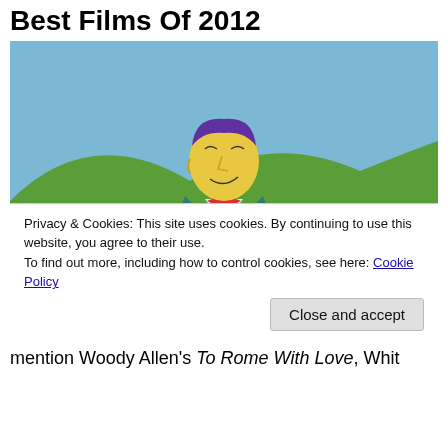Best Films Of 2012
[Figure (illustration): Animated cartoon character (resembling Mr. Burns from The Simpsons) with arms outstretched standing in a green field with blue sky background]
Privacy & Cookies: This site uses cookies. By continuing to use this website, you agree to their use.
To find out more, including how to control cookies, see here: Cookie Policy
Close and accept
mention Woody Allen's To Rome With Love, Whit